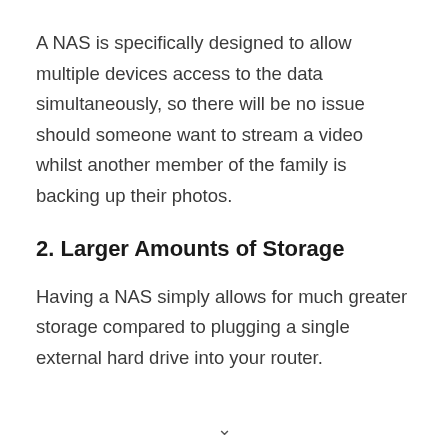A NAS is specifically designed to allow multiple devices access to the data simultaneously, so there will be no issue should someone want to stream a video whilst another member of the family is backing up their photos.
2. Larger Amounts of Storage
Having a NAS simply allows for much greater storage compared to plugging a single external hard drive into your router.